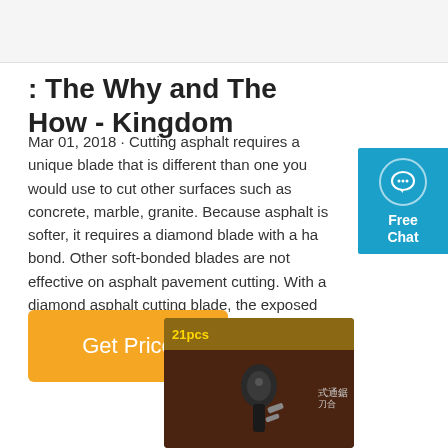: The Why and The How - Kingdom
Mar 01, 2018 · Cutting asphalt requires a unique blade that is different than one you would use to cut other surfaces such as concrete, marble, granite. Because asphalt is softer, it requires a diamond blade with a hard bond. Other soft-bonded blades are not effective on asphalt pavement cutting. With a diamond asphalt cutting blade, the exposed edge is ...
[Figure (other): Orange 'Get Price' button]
[Figure (photo): Product packaging image showing a blade tool with Chinese text characters, brown/dark packaging with gold label at top reading '21pcs']
[Figure (other): Blue 'Free Chat' widget on the right side with chat bubble icon]